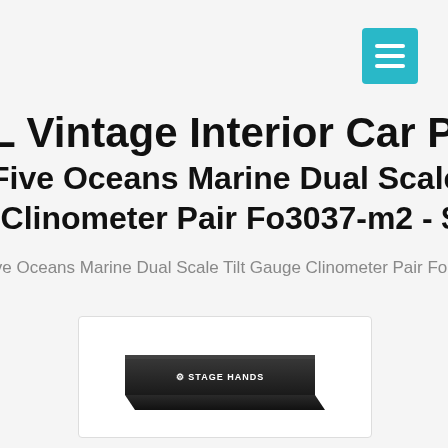Vintage Interior Car Parts
Five Oceans Marine Dual Scale Tilt Gauge Clinometer Pair Fo3037-m2 - $42.99
Five Oceans Marine Dual Scale Tilt Gauge Clinometer Pair Fo3037-m
[Figure (photo): Product image of a black rectangular pad/case with white logo text reading 'STAGE HANDS']